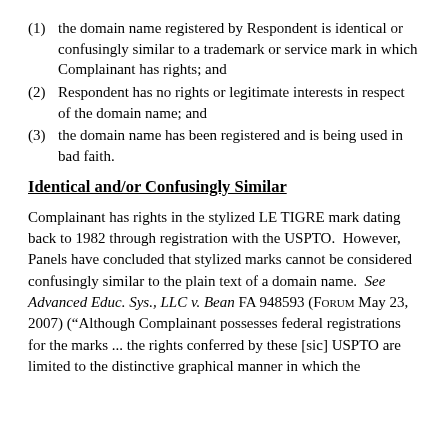(1) the domain name registered by Respondent is identical or confusingly similar to a trademark or service mark in which Complainant has rights; and
(2) Respondent has no rights or legitimate interests in respect of the domain name; and
(3) the domain name has been registered and is being used in bad faith.
Identical and/or Confusingly Similar
Complainant has rights in the stylized LE TIGRE mark dating back to 1982 through registration with the USPTO.  However, Panels have concluded that stylized marks cannot be considered confusingly similar to the plain text of a domain name.  See Advanced Educ. Sys., LLC v. Bean FA 948593 (Forum May 23, 2007) (“Although Complainant possesses federal registrations for the marks ... the rights conferred by these [sic] USPTO are limited to the distinctive graphical manner in which the